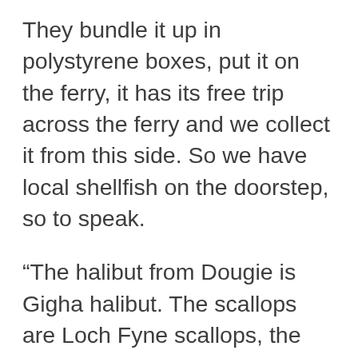They bundle it up in polystyrene boxes, put it on the ferry, it has its free trip across the ferry and we collect it from this side. So we have local shellfish on the doorstep, so to speak.
“The halibut from Dougie is Gigha halibut. The scallops are Loch Fyne scallops, the langoustines are either from Loch Fyne or the Isle of Bute. The mussels are a mixture of Loch Fyne or Mull, but they are all west coast and from a 50 mile radius. It’s nice to be able to turn